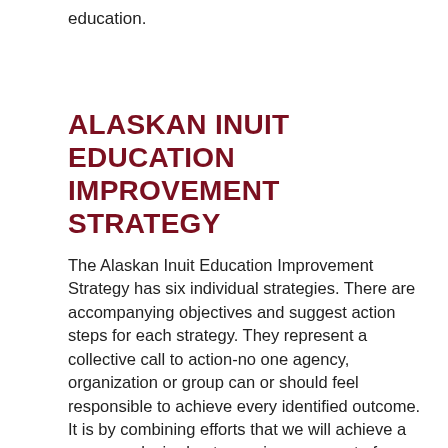education.
ALASKAN INUIT EDUCATION IMPROVEMENT STRATEGY
The Alaskan Inuit Education Improvement Strategy has six individual strategies. There are accompanying objectives and suggest action steps for each strategy. They represent a collective call to action-no one agency, organization or group can or should feel responsible to achieve every identified outcome. It is by combining efforts that we will achieve a common desired outcome-improvement of education, in its very broadest sense, for Alaskan Inuit children. The process begins with each person deciding to make a difference, to be accountable for the next generation. Individuals form groups taking